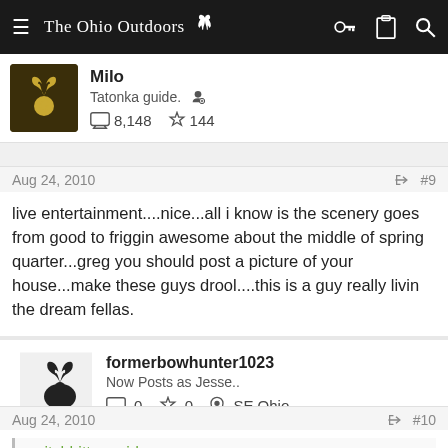The Ohio Outdoors
Milo
Tatonka guide.
8,148  144
Aug 24, 2010  #9
live entertainment....nice...all i know is the scenery goes from good to friggin awesome about the middle of spring quarter...greg you should post a picture of your house...make these guys drool....this is a guy really livin the dream fellas.
formerbowhunter1023
Now Posts as Jesse..
0  0  SE Ohio
Aug 24, 2010  #10
switchhitter said: